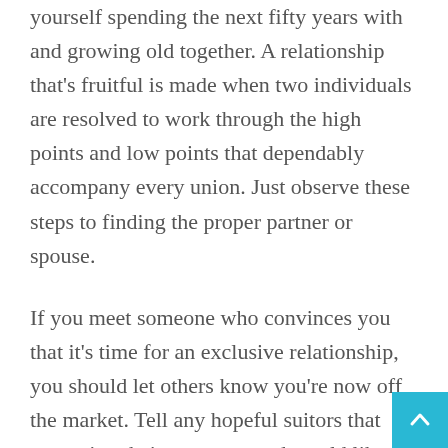yourself spending the next fifty years with and growing old together. A relationship that's fruitful is made when two individuals are resolved to work through the high points and low points that dependably accompany every union. Just observe these steps to finding the proper partner or spouse.
If you meet someone who convinces you that it's time for an exclusive relationship, you should let others know you're now off the market. Tell any hopeful suitors that you enjoy their company and would like to remain friends, but that there just isn't a romantic spark with them. Speak with your date; be honest and open about